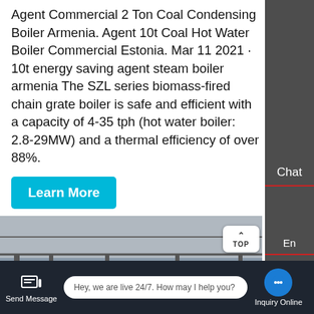Agent Commercial 2 Ton Coal Condensing Boiler Armenia. Agent 10t Coal Hot Water Boiler Commercial Estonia. Mar 11 2021 · 10t energy saving agent steam boiler armenia The SZL series biomass-fired chain grate boiler is safe and efficient with a capacity of 4-35 tph (hot water boiler: 2.8-29MW) and a thermal efficiency of over 88%.
Learn More
[Figure (photo): Industrial boiler facility interior showing large boiler equipment, piping, steel roof structure]
Contact us now!
Chat
En
Contact
Send Message
Hey, we are live 24/7. How may I help you?
Inquiry Online